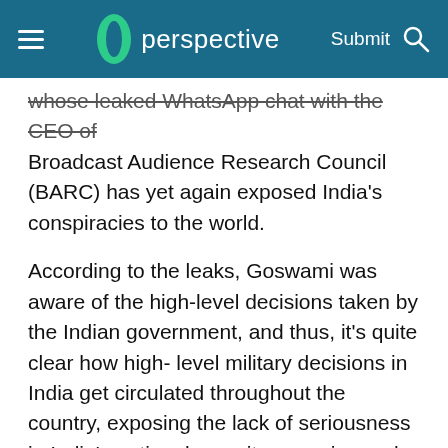perspective | Submit
whose leaked WhatsApp chat with the CEO of Broadcast Audience Research Council (BARC) has yet again exposed India's conspiracies to the world.
According to the leaks, Goswami was aware of the high-level decisions taken by the Indian government, and thus, it's quite clear how high-level military decisions in India get circulated throughout the country, exposing the lack of seriousness in India's national security agencies and decision-making. As with the Balakot attack, Goswami was also aware of the annulment of article 370 and he has used such news to increase